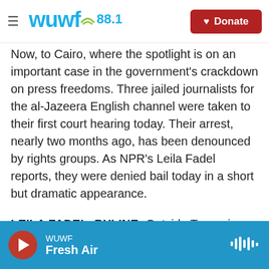WUWF 88.1 — Donate
Now, to Cairo, where the spotlight is on an important case in the government's crackdown on press freedoms. Three jailed journalists for the al-Jazeera English channel were taken to their first court hearing today. Their arrest, nearly two months ago, has been denounced by rights groups. As NPR's Leila Fadel reports, they were denied bail today in a short but dramatic appearance.
LEILA FADEL, BYLINE: Outside Tora prison in suburban Cairo, Adel Fahmy's face is drawn. He and his family were barred from attending the trial of his brother, Mohamed Fahmy, inside a makeshift
WUWF — Fresh Air